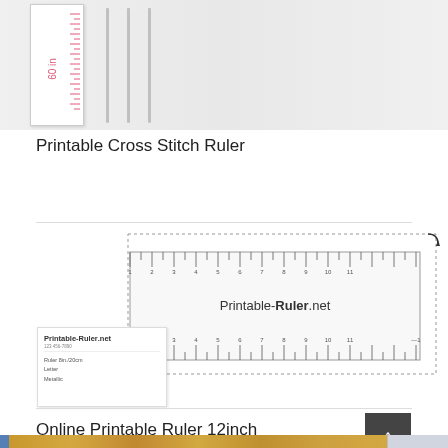[Figure (photo): Photo of a red cross stitch ruler/tape measure with needles beside it on a gray background]
Printable Cross Stitch Ruler
[Figure (illustration): Diagram of a printable ruler from Printable-Ruler.net showing inch and centimeter markings with dotted border and rotation arrows]
[Figure (screenshot): Small card thumbnail from Printable-Ruler.net showing: Ruler 8in./20cm, Letter, Metallic]
Online Printable Ruler 12inch
[Figure (photo): Partial photo of a wooden ruler at the bottom of the page]